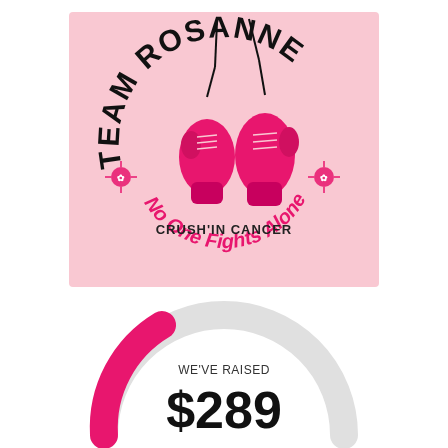[Figure (logo): Team Rosanne logo — pink background rectangle with hanging pink boxing gloves in the center, bold black arched text reading 'TEAM ROSANNE' at the top, pink cursive text 'No One Fights Alone!' along the bottom arc, black text 'CRUSH'IN CANCER' below the gloves center, and two small pink ribbon/bow decorative icons on each side.]
[Figure (donut-chart): Partial donut / gauge chart showing fundraising progress. Large light gray arc forms the background semicircle. A hot-pink arc segment at the top-right indicates amount raised. Center text shows 'WE'VE RAISED' above '$289'.]